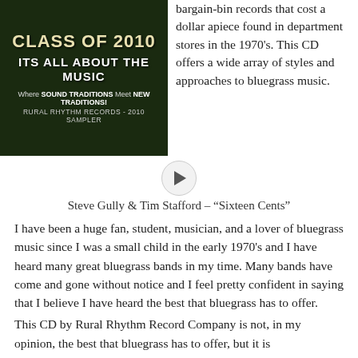[Figure (illustration): Album cover for Rural Rhythm Records Class of 2010 – It's All About the Music. Dark green background with leaves. Text: CLASS OF 2010, ITS ALL ABOUT THE MUSIC, Where SOUND TRADITIONS Meet NEW TRADITIONS!, RURAL RHYTHM RECORDS - 2010 SAMPLER]
bargain-bin records that cost a dollar apiece found in department stores in the 1970's. This CD offers a wide array of styles and approaches to bluegrass music.
[Figure (other): Audio player play button (circle with triangle)]
Steve Gully & Tim Stafford – “Sixteen Cents”
I have been a huge fan, student, musician, and a lover of bluegrass music since I was a small child in the early 1970’s and I have heard many great bluegrass bands in my time. Many bands have come and gone without notice and I feel pretty confident in saying that I believe I have heard the best that bluegrass has to offer.
This CD by Rural Rhythm Record Company is not, in my opinion, the best that bluegrass has to offer, but it is